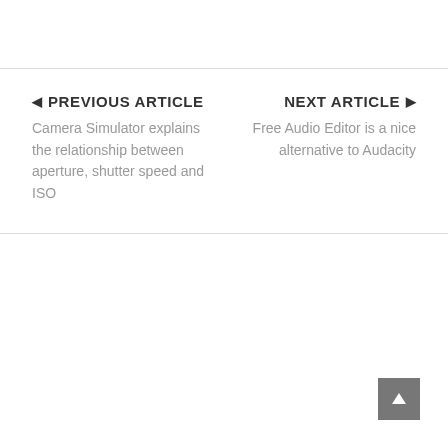◄ PREVIOUS ARTICLE
Camera Simulator explains the relationship between aperture, shutter speed and ISO
NEXT ARTICLE ►
Free Audio Editor is a nice alternative to Audacity